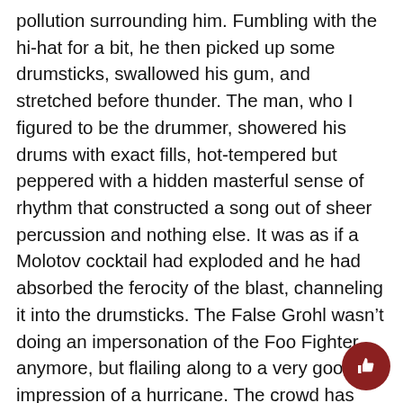pollution surrounding him. Fumbling with the hi-hat for a bit, he then picked up some drumsticks, swallowed his gum, and stretched before thunder. The man, who I figured to be the drummer, showered his drums with exact fills, hot-tempered but peppered with a hidden masterful sense of rhythm that constructed a song out of sheer percussion and nothing else. It was as if a Molotov cocktail had exploded and he had absorbed the ferocity of the blast, channeling it into the drumsticks. The False Grohl wasn’t doing an impersonation of the Foo Fighter anymore, but flailing along to a very good impression of a hurricane. The crowd has quieted at this point, and a minute through the swelter brought entrance to the guitarist, a blond youth with piles upon piles of pedals. I saw no bassist, and assumed that their sound might be closer to the White Stripes than any other band.
[Figure (other): A circular dark red thumbs-up button icon in the bottom right corner]